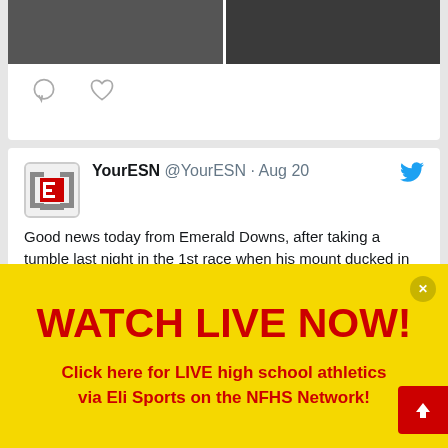[Figure (screenshot): Partial tweet showing two horse racing images at top and action icons (comment and heart)]
[Figure (screenshot): Tweet from @YourESN dated Aug 20 with YourESN avatar logo, blue Twitter bird icon, and tweet text about Kevin at Emerald Downs]
YourESN @YourESN · Aug 20
Good news today from Emerald Downs, after taking a tumble last night in the 1st race when his mount ducked in he walked off the track, then was taken to the hospital for some precautionary x-rays and he is ok. Kevin has communicated with ESN that he will be in the saddle today.
[Figure (infographic): Yellow advertisement banner: WATCH LIVE NOW! Click here for LIVE high school athletics via Eli Sports on the NFHS Network!]